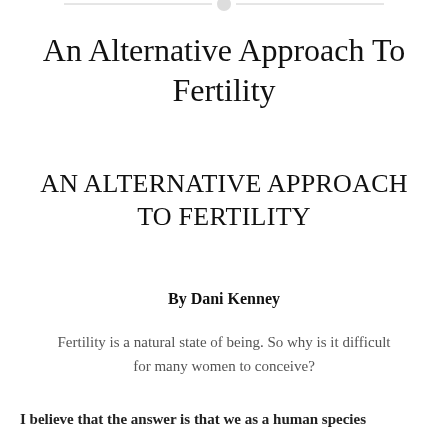An Alternative Approach To Fertility
AN ALTERNATIVE APPROACH TO FERTILITY
By Dani Kenney
Fertility is a natural state of being. So why is it difficult for many women to conceive?
I believe that the answer is that we as a human species